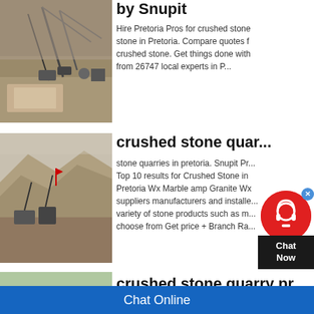[Figure (photo): Aerial view of a quarry/mining site with conveyor structures and stone processing equipment]
by Snupit
Hire Pretoria Pros for crushed stone in Pretoria. Compare quotes for crushed stone. Get things done with from 26747 local experts in P...
[Figure (photo): Photo of a quarry with large stone pit, machinery, and dust clouds]
crushed stone quar...
stone quarries in pretoria. Snupit Pr... Top 10 results for Crushed Stone in Pretoria Wx Marble amp Granite Wx suppliers manufacturers and installe... variety of stone products such as m... choose from Get price + Branch Ra...
[Figure (photo): Photo of a quarry landscape with red soil and trees]
crushed stone quarry pr...
Chat Online